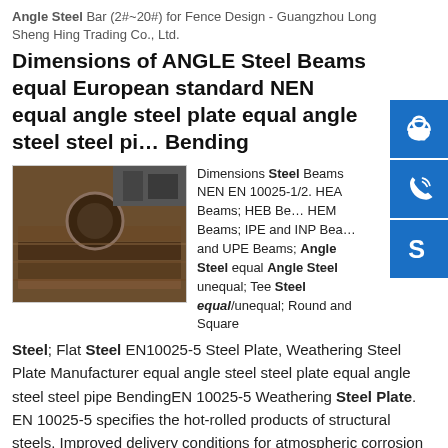Angle Steel Bar (2#~20#) for Fence Design - Guangzhou Long Sheng Hing Trading Co., Ltd.
Dimensions of ANGLE Steel Beams equal European standard NEN equal angle steel plate equal angle steel steel pipe Bending
[Figure (photo): Industrial steel plates and beams stacked in a factory/warehouse setting, with a circular cut visible on one of the steel plates.]
Dimensions Steel Beams NEN EN 10025-1/2. HEA Beams; HEB Beams; HEM Beams; IPE and INP Beams; and UPE Beams; Angle Steel equal Angle Steel unequal; Tee Steel equal/unequal; Round and Square Steel; Flat Steel EN10025-5 Steel Plate, Weathering Steel Plate Manufacturer equal angle steel steel plate equal angle steel steel pipe BendingEN 10025-5 Weathering Steel Plate. EN 10025-5 specifies the hot-rolled products of structural steels. Improved delivery conditions for atmospheric corrosion resistant structural steels. EN 10025-5 standard main steel grade:EN10025-5